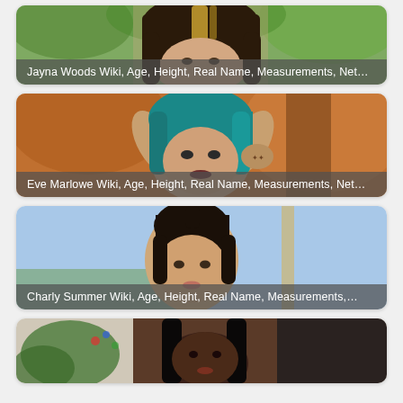[Figure (photo): Card with photo of Jayna Woods - woman with dark hair with blonde highlights, outdoors with green trees background. Caption overlay: 'Jayna Woods Wiki, Age, Height, Real Name, Measurements, Net...']
[Figure (photo): Card with photo of Eve Marlowe - woman with blue/teal hair, arms raised, with tattoo visible, outdoors with orange foliage background. Caption overlay: 'Eve Marlowe Wiki, Age, Height, Real Name, Measurements, Net...']
[Figure (photo): Card with photo of Charly Summer - woman with dark hair up, outdoors with blue sky. Caption overlay: 'Charly Summer Wiki, Age, Height, Real Name, Measurements,...']
[Figure (photo): Card with photo of a woman with long straight black hair, partial view, indoors with plants in background. Partially visible at bottom.]